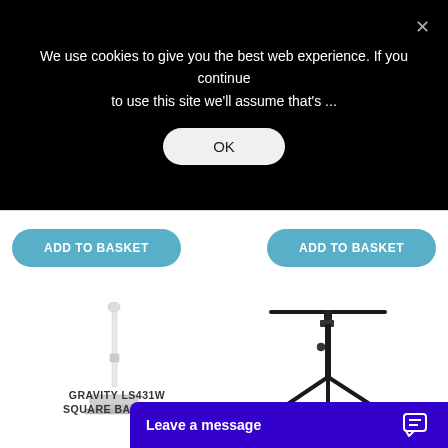We use cookies to give you the best web experience. If you continue to use this site we'll assume that's ...
OK
ADD TO BASKET
ADD TO BASKET
[Figure (photo): Gravity LS431W white square base speaker stand product image]
[Figure (photo): Tripod lighting stand with horizontal T-bar crossbeam]
GRAVITY LS431W SQUARE BASE STE...
Leave a message